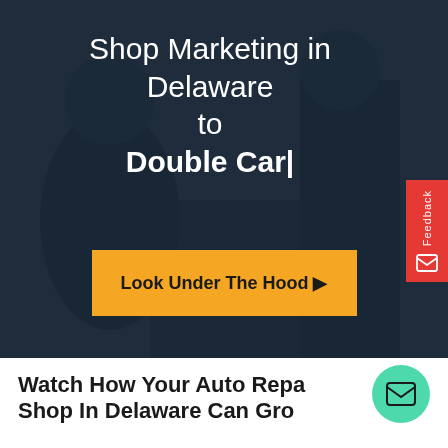[Figure (screenshot): Dark blue overlaid background image showing people in a business/marketing meeting setting]
Shop Marketing in Delaware to Double Car|
Look Under The Hood ▶
[Figure (illustration): Red feedback tab on right side with envelope icon]
[Figure (illustration): Teal/green circular chat bubble button with envelope/mail icon]
Watch How Your Auto Repa Shop In Delaware Can Gro